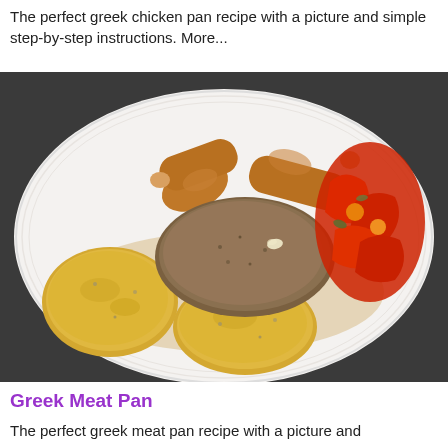The perfect greek chicken pan recipe with a picture and simple step-by-step instructions. More...
[Figure (photo): A white plate with roasted greek chicken drumsticks, golden potatoes seasoned with herbs, and roasted red peppers/tomatoes with sauce.]
Greek Meat Pan
The perfect greek meat pan recipe with a picture and